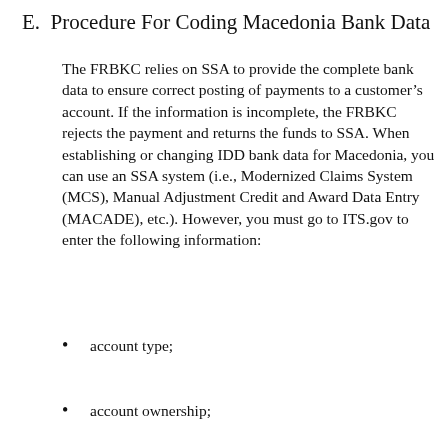E.  Procedure For Coding Macedonia Bank Data
The FRBKC relies on SSA to provide the complete bank data to ensure correct posting of payments to a customer’s account. If the information is incomplete, the FRBKC rejects the payment and returns the funds to SSA. When establishing or changing IDD bank data for Macedonia, you can use an SSA system (i.e., Modernized Claims System (MCS), Manual Adjustment Credit and Award Data Entry (MACADE), etc.). However, you must go to ITS.gov to enter the following information:
account type;
account ownership;